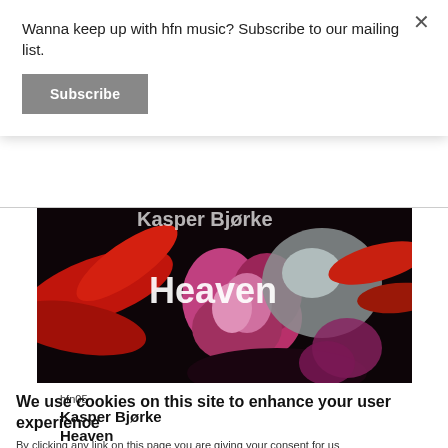Wanna keep up with hfn music? Subscribe to our mailing list.
Subscribe
[Figure (photo): Album artwork for 'Heaven' by Kasper Bjørke (hfn05) showing red and magenta flowers with the word 'Heaven' overlaid in white text, against a dark background.]
hfn05
Kasper Bjørke
Heaven
We use cookies on this site to enhance your user experience
By clicking any link on this page you are giving your consent for us